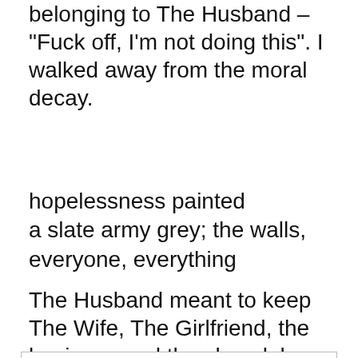belonging to The Husband – "Fuck off, I'm not doing this". I walked away from the moral decay.
hopelessness painted
a slate army grey; the walls,
everyone, everything
The Husband meant to keep The Wife, The Girlfriend, the business and the slave labour (The Wife's parents). Looks
Privacy & Cookies: This site uses cookies. By continuing to use this website, you agree to their use.
To find out more, including how to control cookies, see here: Cookie Policy
Close and accept
a Freudian slip